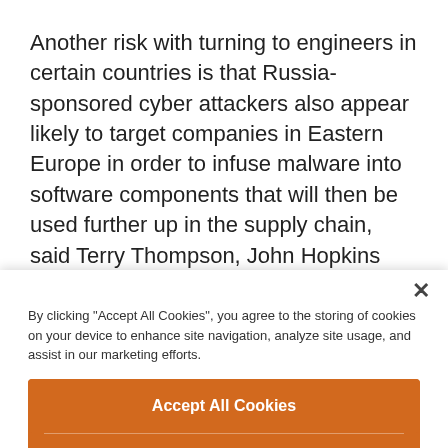Another risk with turning to engineers in certain countries is that Russia-sponsored cyber attackers also appear likely to target companies in Eastern Europe in order to infuse malware into software components that will then be used further up in the supply chain, said Terry Thompson, John Hopkins University adjunct instructor in cybersecurity, in a recent article.
By clicking "Accept All Cookies", you agree to the storing of cookies on your device to enhance site navigation, analyze site usage, and assist in our marketing efforts.
Accept All Cookies
Reject All
Cookies Settings